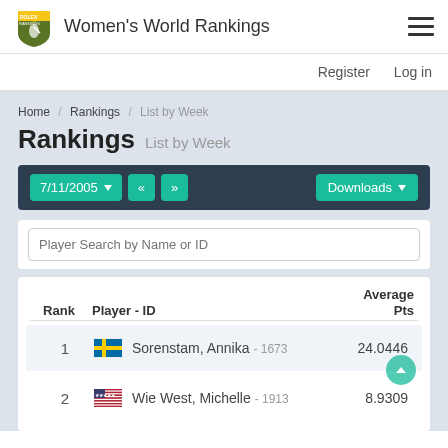Women's World Rankings
Register   Log in
Home / Rankings / List by Week
Rankings List by Week
7/11/2005  Downloads
Player Search by Name or ID
| Rank | Player - ID | Average Pts |
| --- | --- | --- |
| 1 | Sorenstam, Annika - 1673 | 24.0446 |
| 2 | Wie West, Michelle - 1913 | 8.9309 |